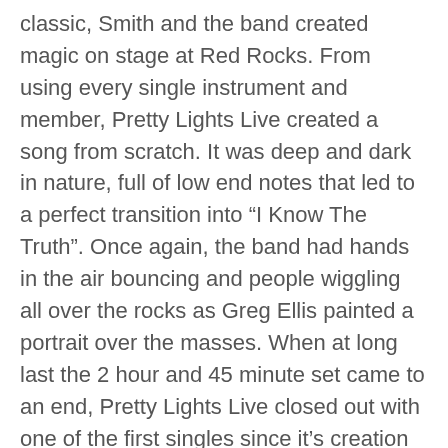classic, Smith and the band created magic on stage at Red Rocks. From using every single instrument and member, Pretty Lights Live created a song from scratch. It was deep and dark in nature, full of low end notes that led to a perfect transition into “I Know The Truth”. Once again, the band had hands in the air bouncing and people wiggling all over the rocks as Greg Ellis painted a portrait over the masses. When at long last the 2 hour and 45 minute set came to an end, Pretty Lights Live closed out with one of the first singles since it’s creation in 2016, “The Sun Spreads In Our Minds”.
The song really encapsulated the theme of the